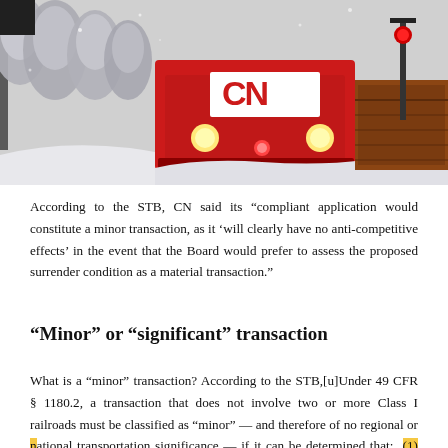[Figure (photo): A red CN (Canadian National) railway locomotive train traveling through a snowy winter landscape with snow-covered trees on the left and a rail crossing signal visible on the right.]
According to the STB, CN said its “compliant application would constitute a minor transaction, as it ‘will clearly have no anti-competitive effects’ in the event that the Board would prefer to assess the proposed surrender condition as a material transaction.”
“Minor” or “significant” transaction
What is a “minor” transaction? According to the STB,[u]Under 49 CFR § 1180.2, a transaction that does not involve two or more Class I railroads must be classified as “minor” — and therefore of no regional or national transportation significance — if it can be determined that: (1) the